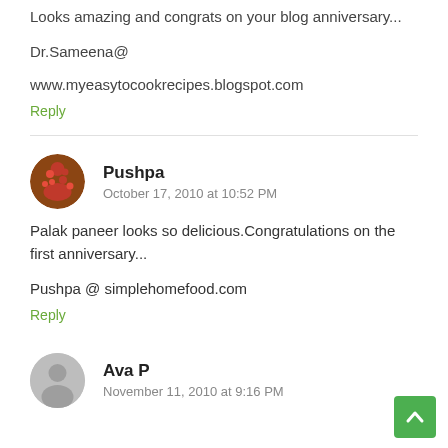Looks amazing and congrats on your blog anniversary...
Dr.Sameena@
www.myeasytocookrecipes.blogspot.com
Reply
Pushpa
October 17, 2010 at 10:52 PM
Palak paneer looks so delicious.Congratulations on the first anniversary...
Pushpa @ simplehomefood.com
Reply
Ava P
November 11, 2010 at 9:16 PM